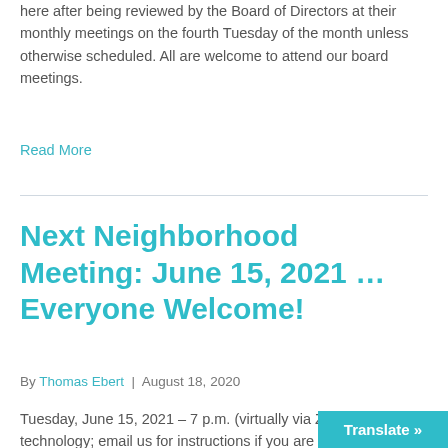here after being reviewed by the Board of Directors at their monthly meetings on the fourth Tuesday of the month unless otherwise scheduled. All are welcome to attend our board meetings.
Read More
Next Neighborhood Meeting: June 15, 2021 … Everyone Welcome!
By Thomas Ebert | August 18, 2020
Tuesday, June 15, 2021 – 7 p.m. (virtually via Zoom technology; email us for instructions if you are not already on our e-blast list, or see the events listing on t… Location: online virtual meeting due to COVI…